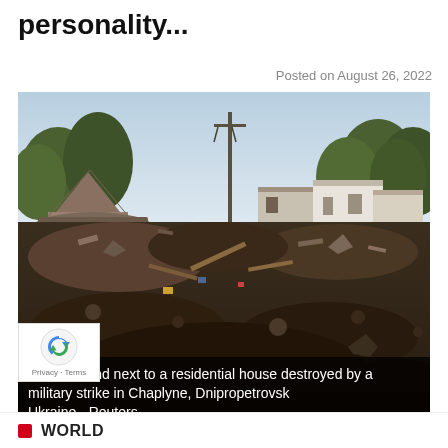personality...
Posted on August 26, 2022
[Figure (photo): Aerial view of a residential house destroyed by a military strike showing a large bomb crater surrounded by rubble, debris, and damaged structures. Trees visible in background. Taken in Chaplyne, Dnipropetrovsk, Ukraine.]
People stand next to a residential house destroyed by a military strike in Chaplyne, Dnipropetrovsk Ukraine - Reuters
WORLD